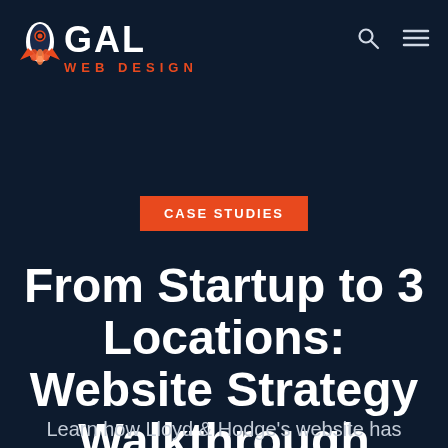[Figure (logo): GAL Web Design logo — rocket icon on left, white bold 'GAL' text, orange 'WEB DESIGN' text below]
CASE STUDIES
From Startup to 3 Locations: Website Strategy Walkthrough
Learn how Lloyd & Hodge's website has